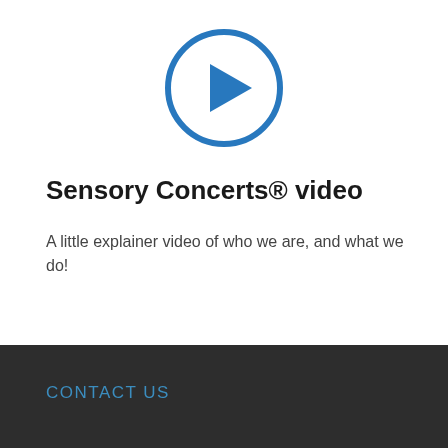[Figure (illustration): Blue circle play button icon with a right-pointing triangle in the center]
Sensory Concerts® video
A little explainer video of who we are, and what we do!
CONTACT US